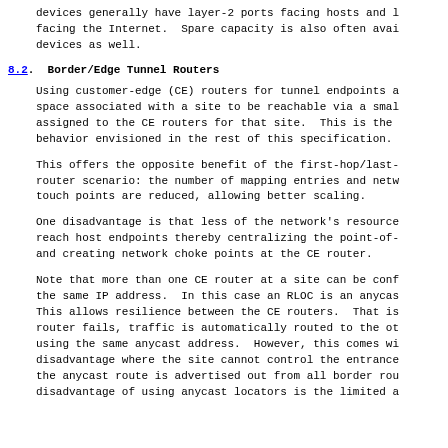devices generally have layer-2 ports facing hosts and l facing the Internet.  Spare capacity is also often avai devices as well.
8.2.  Border/Edge Tunnel Routers
Using customer-edge (CE) routers for tunnel endpoints a space associated with a site to be reachable via a smal assigned to the CE routers for that site.  This is the behavior envisioned in the rest of this specification.
This offers the opposite benefit of the first-hop/last- router scenario: the number of mapping entries and netw touch points are reduced, allowing better scaling.
One disadvantage is that less of the network's resource reach host endpoints thereby centralizing the point-of- and creating network choke points at the CE router.
Note that more than one CE router at a site can be conf the same IP address.  In this case an RLOC is an anycas This allows resilience between the CE routers.  That is router fails, traffic is automatically routed to the ot using the same anycast address.  However, this comes wi disadvantage where the site cannot control the entrance the anycast route is advertised out from all border rou disadvantage of using anycast locators is the limited a